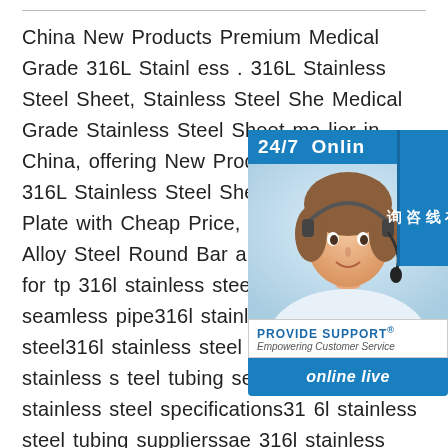China New Products Premium Medical Grade 316L Stainless . 316L Stainless Steel Sheet, Stainless Steel Sheet, Medical Grade Stainless Steel Sheet manufacturer / supplier in China, offering New Products Premium Medical Grade 316L Stainless Steel Sheet, Duplex 2507 Plate with Cheap Price, Corrosion Resistant Nickel 600 Alloy Steel Round Bar and so on.Searches for tp 316l stainless steel seamless stainless steel seamless pipe316l stainless steel316l stainless steel316l stainless steel tubing316 stainless steel tubing seamless316l stainless steel specifications316l stainless steel tubing supplierssae 316l stainless steel12345NextVideos of tp 316l stainless steel seamless tube Watch video on Vimeo0:31316L stainless steel seamless pipe suppliers2 views)VimeoRob Lee (stainless pipe sup...
[Figure (screenshot): Live chat support widget showing a customer service agent photo, 24/7 Online text, Provide Support branding, and 'online live' button with Chinese text tab (在线咨询)]